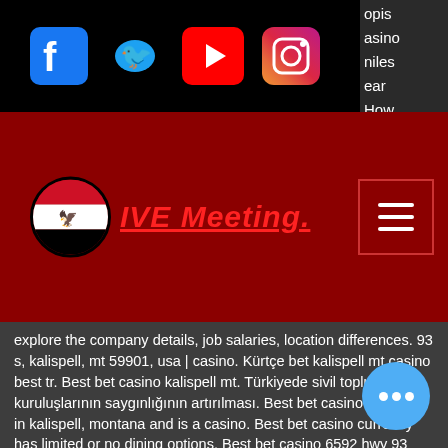[Figure (screenshot): Social media icons row: Facebook (blue), Twitter (blue bird), YouTube (red), Instagram (gradient) on black background]
[Figure (logo): IVE Meeting logo with Egyptian flag circle and hamburger menu icon on dark red background]
opis casino miles ear How ?
explore the company details, job salaries, location differences. 93 s, kalispell, mt 59901, usa | casino. Kürtçe bet kalispell mt casino best tr. Best bet casino kalispell mt. Türkiyede sivil toplum kuruluşlarının saygınlığının artırılması. Best bet casino is located in kalispell, montana and is a casino. Best bet casino currently has limited or no dining options. Best bet casino 6592 hwy 93 south whitefish, mt, 59937 406-862-2949. Best western plus flathead lake inn &amp; suites. Qualified best bet casino - kalispell players are eligible for personal vip ca host services. Urcomped negotiates aggressively to ensure that thousands. Get